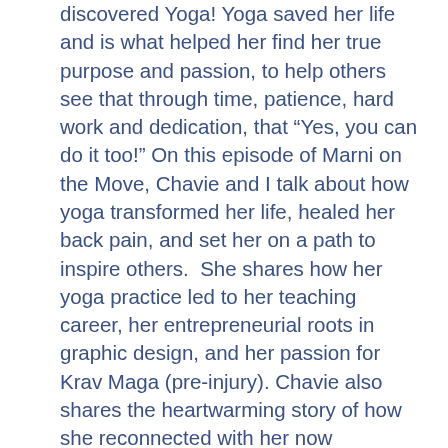discovered Yoga! Yoga saved her life and is what helped her find her true purpose and passion, to help others see that through time, patience, hard work and dedication, that “Yes, you can do it too!” On this episode of Marni on the Move, Chavie and I talk about how yoga transformed her life, healed her back pain, and set her on a path to inspire others.  She shares how her yoga practice led to her teaching career, her entrepreneurial roots in graphic design, and her passion for Krav Maga (pre-injury). Chavie also shares the heartwarming story of how she reconnected with her now husband, her super cool teenage children and her foray onto Tik Tok.
Chavie’s dedicated yoga practice led her to